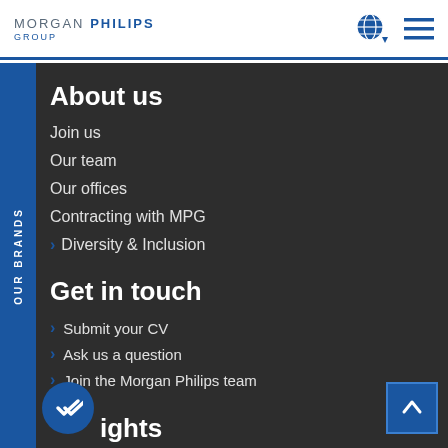MORGAN PHILIPS GROUP
About us
Join us
Our team
Our offices
Contracting with MPG
› Diversity & Inclusion
Get in touch
› Submit your CV
› Ask us a question
› Join the Morgan Philips team
ights